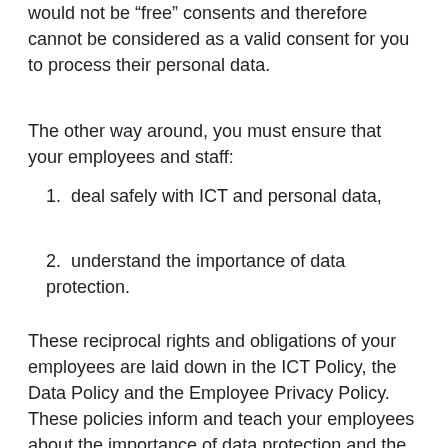would not be “free” consents and therefore cannot be considered as a valid consent for you to process their personal data.
The other way around, you must ensure that your employees and staff:
1. deal safely with ICT and personal data,
2. understand the importance of data protection.
These reciprocal rights and obligations of your employees are laid down in the ICT Policy, the Data Policy and the Employee Privacy Policy. These policies inform and teach your employees about the importance of data protection and the points of attention they need to apply when using your ICT infrastructure and/or handling personal data and about how their own personal data is processed.